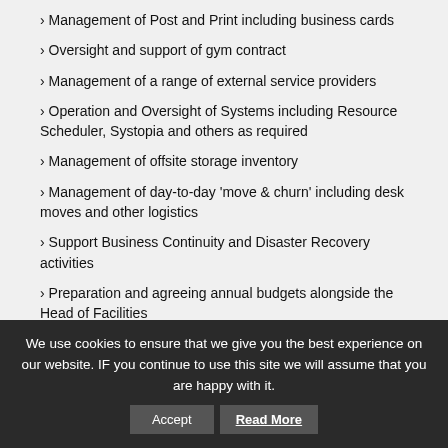› Management of Post and Print including business cards
› Oversight and support of gym contract
› Management of a range of external service providers
› Operation and Oversight of Systems including Resource Scheduler, Systopia and others as required
› Management of offsite storage inventory
› Management of day-to-day 'move & churn' including desk moves and other logistics
› Support Business Continuity and Disaster Recovery activities
› Preparation and agreeing annual budgets alongside the Head of Facilities
› Projects as required
› Assist Head of Facilities as required
› Build relationships with key stakeholders throughout the
We use cookies to ensure that we give you the best experience on our website. IF you continue to use this site we will assume that you are happy with it. Accept Read More